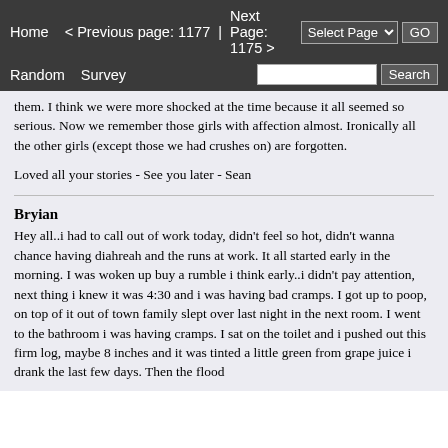Home   < Previous page: 1177  |  Next Page: 1175 >   Random   Survey   Select Page  GO  Search
them. I think we were more shocked at the time because it all seemed so serious. Now we remember those girls with affection almost. Ironically all the other girls (except those we had crushes on) are forgotten.
Loved all your stories - See you later - Sean
Bryian
Hey all..i had to call out of work today, didn't feel so hot, didn't wanna chance having diahreah and the runs at work. It all started early in the morning. I was woken up buy a rumble i think early..i didn't pay attention, next thing i knew it was 4:30 and i was having bad cramps. I got up to poop, on top of it out of town family slept over last night in the next room. I went to the bathroom i was having cramps. I sat on the toilet and i pushed out this firm log, maybe 8 inches and it was tinted a little green from grape juice i drank the last few days. Then the flood